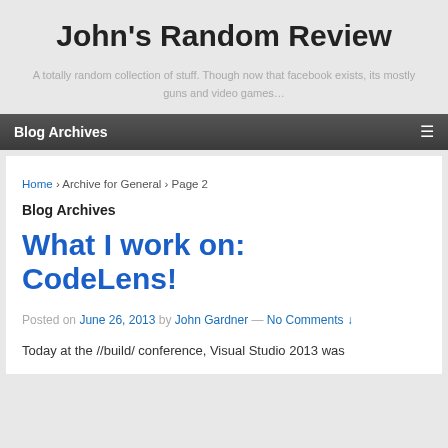John's Random Review
A totally random collection of stuff. Though now that facebook exists, its mostly guns and video games…
Blog Archives
Home › Archive for General › Page 2
Blog Archives
What I work on: CodeLens!
Posted on June 26, 2013 by John Gardner — No Comments ↓
Today at the //build/ conference, Visual Studio 2013 was